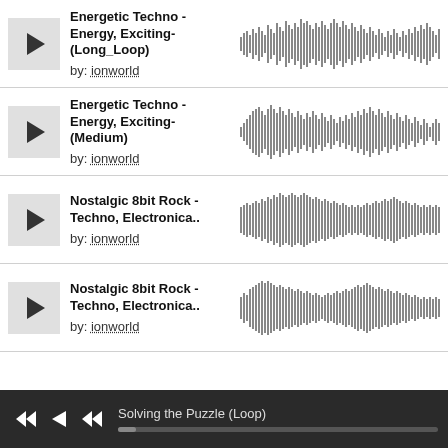Energetic Techno -Energy, Exciting- (Long_Loop) by: ionworld
[Figure (other): Waveform audio visualization for Energetic Techno Long_Loop track]
Energetic Techno -Energy, Exciting- (Medium) by: ionworld
[Figure (other): Waveform audio visualization for Energetic Techno Medium track]
Nostalgic 8bit Rock - Techno, Electronica.. by: ionworld
[Figure (other): Waveform audio visualization for Nostalgic 8bit Rock Techno Electronica track]
Nostalgic 8bit Rock - Techno, Electronica.. by: ionworld
[Figure (other): Waveform audio visualization for Nostalgic 8bit Rock Techno Electronica second track]
Solving the Puzzle (Loop)